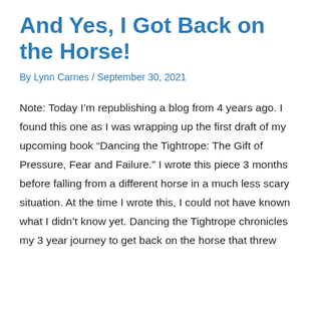And Yes, I Got Back on the Horse!
By Lynn Carnes / September 30, 2021
Note: Today I’m republishing a blog from 4 years ago. I found this one as I was wrapping up the first draft of my upcoming book “Dancing the Tightrope: The Gift of Pressure, Fear and Failure.” I wrote this piece 3 months before falling from a different horse in a much less scary situation. At the time I wrote this, I could not have known what I didn’t know yet. Dancing the Tightrope chronicles my 3 year journey to get back on the horse that threw